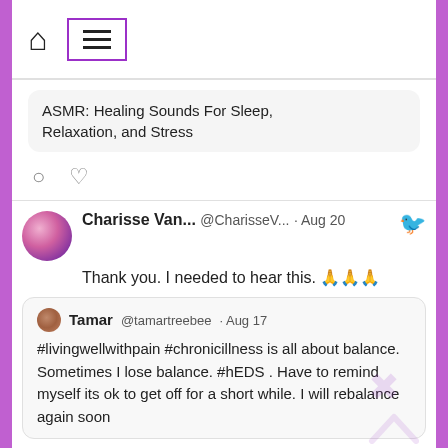[Figure (screenshot): Social media (Twitter) screenshot showing navigation bar with home and menu icons, two tweets: a partial tweet with text 'ASMR: Healing Sounds For Sleep, Relaxation, and Stress', and a tweet by Charisse Van... @CharisseV... Aug 20 saying 'Thank you. I needed to hear this.' with prayer hands emojis, quoting Tamar @tamartreebee Aug 17 '#livingwellwithpain #chronicillness is all about balance. Sometimes I lose balance. #hEDS . Have to remind myself its ok to get off for a short while. I will rebalance again soon', and a retweet row for 'Charisse Van Horn Retweeted'. Purple glitter border surrounds the white content area.]